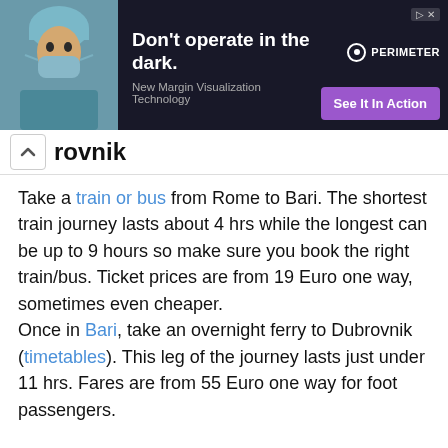[Figure (other): Advertisement banner: dark background with surgeon photo on left, bold headline 'Don't operate in the dark.', subtext 'New Margin Visualization Technology', PERIMETER logo, and purple 'See It In Action' CTA button]
rovnik
Take a train or bus from Rome to Bari. The shortest train journey lasts about 4 hrs while the longest can be up to 9 hours so make sure you book the right train/bus. Ticket prices are from 19 Euro one way, sometimes even cheaper.
Once in Bari, take an overnight ferry to Dubrovnik (timetables). This leg of the journey lasts just under 11 hrs. Fares are from 55 Euro one way for foot passengers.